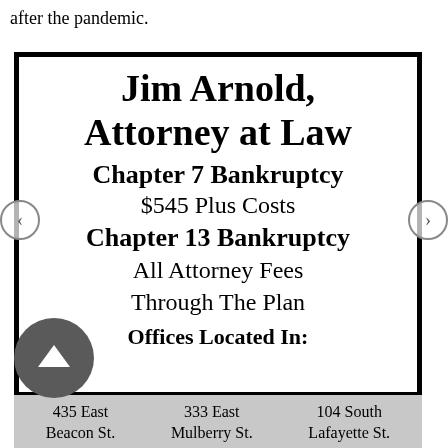after the pandemic.
[Figure (infographic): Advertisement box for Jim Arnold, Attorney at Law, listing Chapter 7 Bankruptcy for $545 Plus Costs, Chapter 13 Bankruptcy with All Attorney Fees Through The Plan, Offices Located In: 435 East Beacon St., 333 East Mulberry St., 104 South Lafayette St.]